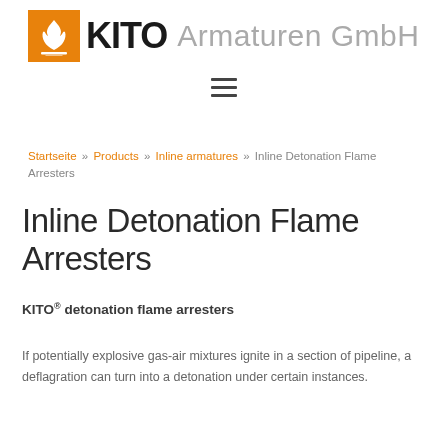[Figure (logo): KITO Armaturen GmbH logo with orange flame icon and bold KITO wordmark followed by light grey 'Armaturen GmbH' text]
[Figure (other): Hamburger menu icon (three horizontal lines)]
Startseite » Products » Inline armatures » Inline Detonation Flame Arresters
Inline Detonation Flame Arresters
KITO® detonation flame arresters
If potentially explosive gas-air mixtures ignite in a section of pipeline, a deflagration can turn into a detonation under certain instances.